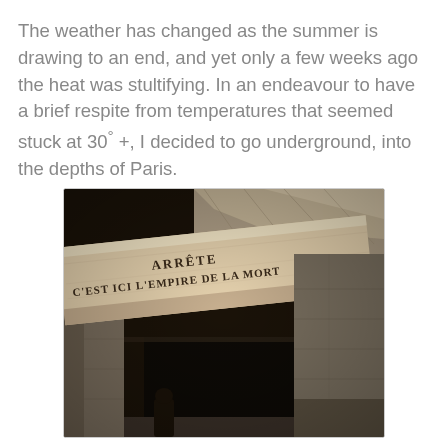The weather has changed as the summer is drawing to an end, and yet only a few weeks ago the heat was stultifying. In an endeavour to have a brief respite from temperatures that seemed stuck at 30° +, I decided to go underground, into the depths of Paris.
[Figure (photo): A photograph taken inside the Paris Catacombs showing a stone entrance with a carved lintel beam bearing the inscription 'ARRÊTE C'EST ICI L'EMPIRE DE LA MORT' (Stop, this is the empire of death). Stone walls and a dark doorway are visible.]